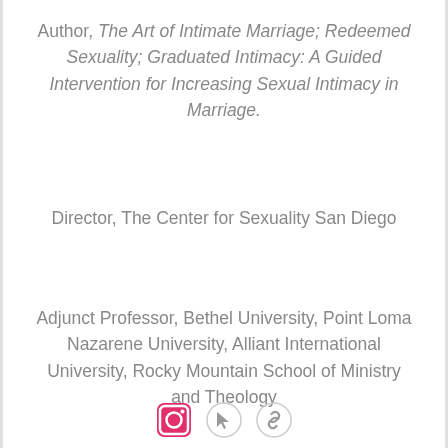Author, The Art of Intimate Marriage; Redeemed Sexuality; Graduated Intimacy: A Guided Intervention for Increasing Sexual Intimacy in Marriage.
Director, The Center for Sexuality San Diego
Adjunct Professor, Bethel University, Point Loma Nazarene University, Alliant International University, Rocky Mountain School of Ministry and Theology
[Figure (other): Social media icons: Instagram icon (pink/magenta square with camera outline), a cursor/pointer icon, and a link/chain icon]